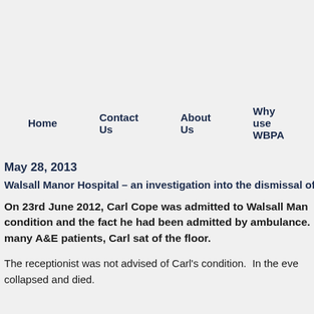Home   Contact Us   About Us   Why use WBPA
May 28, 2013
Walsall Manor Hospital – an investigation into the dismissal of staff follo
On 23rd June 2012, Carl Cope was admitted to Walsall Man... condition and the fact he had been admitted by ambulance... many A&E patients, Carl sat of the floor.
The receptionist was not advised of Carl's condition.  In the eve... collapsed and died.